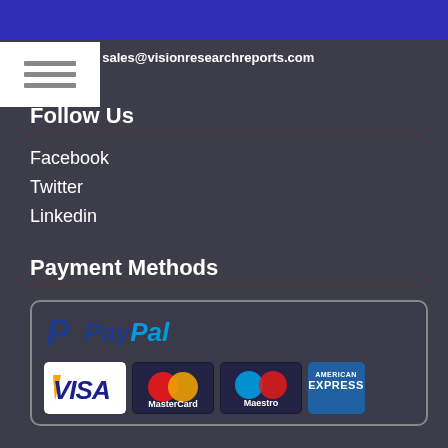Email : sales@visionresearchreports.com
Follow Us
Facebook
Twitter
Linkedin
Payment Methods
[Figure (logo): PayPal logo and payment card logos: VISA, MasterCard, Maestro, American Express]